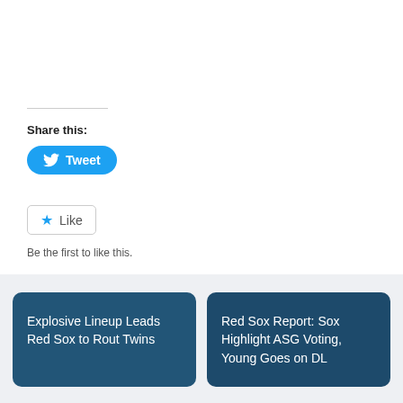Share this:
[Figure (other): Tweet button with Twitter bird icon]
[Figure (other): Like button with star icon]
Be the first to like this.
Explosive Lineup Leads Red Sox to Rout Twins
Red Sox Report: Sox Highlight ASG Voting, Young Goes on DL